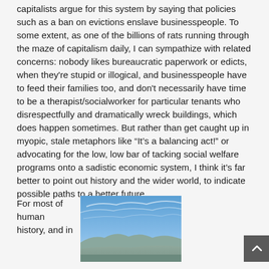capitalists argue for this system by saying that policies such as a ban on evictions enslave businesspeople. To some extent, as one of the billions of rats running through the maze of capitalism daily, I can sympathize with related concerns: nobody likes bureaucratic paperwork or edicts, when they're stupid or illogical, and businesspeople have to feed their families too, and don't necessarily have time to be a therapist/socialworker for particular tenants who disrespectfully and dramatically wreck buildings, which does happen sometimes. But rather than get caught up in myopic, stale metaphors like “It’s a balancing act!” or advocating for the low, low bar of tacking social welfare programs onto a sadistic economic system, I think it’s far better to point out history and the wider world, to indicate possible paths to a better future.
For most of human history, and in
[Figure (photo): Landscape photo showing a wide blue sky with light clouds and mountains or hills in the distance, desert terrain.]